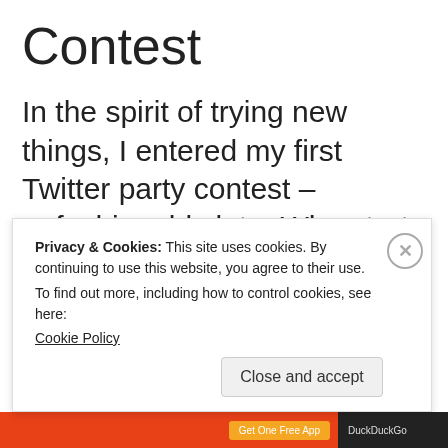Contest
In the spirit of trying new things, I entered my first Twitter party contest –unfashionably late. Who starts a contest for a family vacation at 8 p.m. on a school
Privacy & Cookies: This site uses cookies. By continuing to use this website, you agree to their use.
To find out more, including how to control cookies, see here:
Cookie Policy
Close and accept